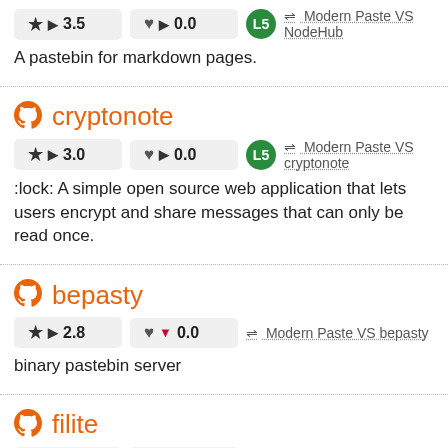★ ▶ 3.5   ♥ ▶ 0.0   L5   ⇌ Modern Paste VS NodeHub
A pastebin for markdown pages.
cryptonote
★ ▶ 3.0   ♥ ▶ 0.0   L5   ⇌ Modern Paste VS cryptonote
:lock: A simple open source web application that lets users encrypt and share messages that can only be read once.
bepasty
★ ▶ 2.8   ♥ ▼ 0.0   ⇌ Modern Paste VS bepasty
binary pastebin server
filite
★ ▶ 3.7   ♥ ▶ 0.7   ⇌ Modern Paste VS filite